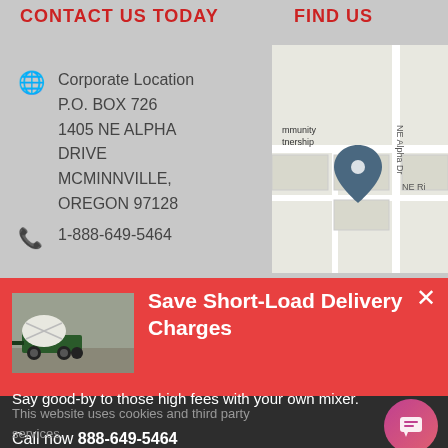CONTACT US TODAY
FIND US
Corporate Location
P.O. BOX 726
1405 NE ALPHA DRIVE
MCMINNVILLE, OREGON 97128
1-888-649-5464
[Figure (map): Google Maps screenshot showing location near NE Alpha Dr, McMinnville Oregon with a map pin marker]
Save Short-Load Delivery Charges
[Figure (photo): Photo of a concrete mixer truck]
Say good-by to those high fees with your own mixer.
Call now 888-649-5464
This website uses cookies and third party services.